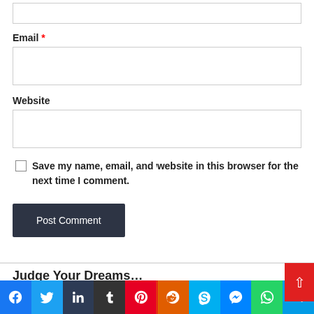Email *
Website
Save my name, email, and website in this browser for the next time I comment.
Post Comment
Judge Your Dreams…
[Figure (infographic): Social media sharing bar with icons for Facebook, Twitter, LinkedIn, Tumblr, Pinterest, Reddit, Skype, Messenger, WhatsApp, Telegram]